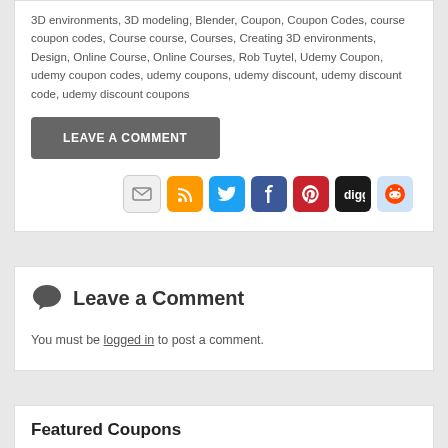3D environments, 3D modeling, Blender, Coupon, Coupon Codes, course coupon codes, Course course, Courses, Creating 3D environments, Design, Online Course, Online Courses, Rob Tuytel, Udemy Coupon, udemy coupon codes, udemy coupons, udemy discount, udemy discount code, udemy discount coupons
LEAVE A COMMENT
[Figure (infographic): Row of 7 social sharing icons: email (grey), RSS (orange), Twitter (blue), Facebook (dark blue), Pinterest (red), Digg (black), Reddit (light blue)]
Leave a Comment
You must be logged in to post a comment.
Featured Coupons